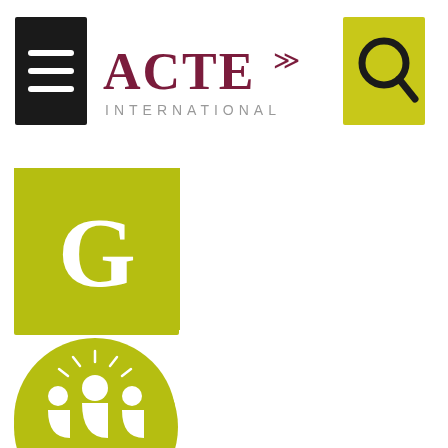[Figure (logo): ACTE International logo with hamburger menu icon on left (black square) and magnifying glass search icon on right (yellow/olive square). The ACTE text is in dark red/maroon with decorative marks, and INTERNATIONAL in gray below.]
[Figure (logo): Yellow-green square icon with white letter G in center]
[Figure (logo): Yellow-green circle icon with white silhouettes of three people (trainer/group icon)]
[Figure (logo): Datadocké certification badge: white circle with blue border, containing a square logo with letters Dd in blue, and text DATADOCKÉ with checkmark and number 0029009]